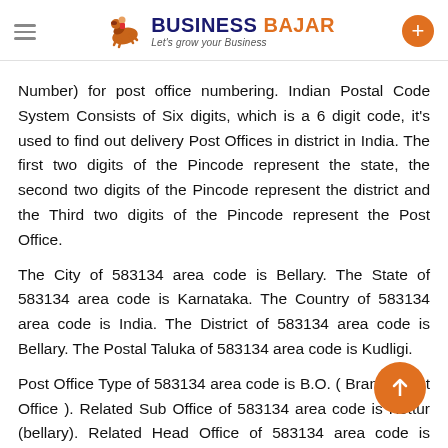Business Bajar — Let's grow your Business
Number) for post office numbering. Indian Postal Code System Consists of Six digits, which is a 6 digit code, it's used to find out delivery Post Offices in district in India. The first two digits of the Pincode represent the state, the second two digits of the Pincode represent the district and the Third two digits of the Pincode represent the Post Office.
The City of 583134 area code is Bellary. The State of 583134 area code is Karnataka. The Country of 583134 area code is India. The District of 583134 area code is Bellary. The Postal Taluka of 583134 area code is Kudligi.
Post Office Type of 583134 area code is B.O. ( Branch Post Office ). Related Sub Office of 583134 area code is Kottur (bellary). Related Head Office of 583134 area code is Hospet. The Postal Division of 583134 area code is Bellary. The Postal Region of 583134 area code is Karnataka. The Postal Circle of 583134 area code is